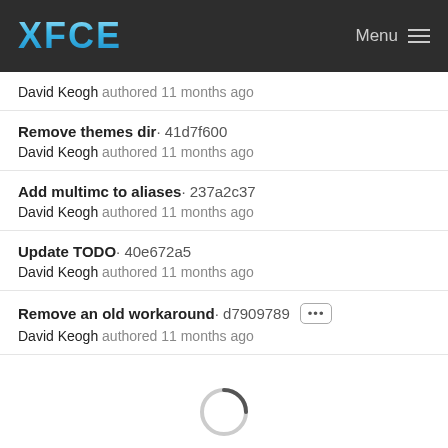XFCE   Menu
David Keogh authored 11 months ago
Remove themes dir · 41d7f600
David Keogh authored 11 months ago
Add multimc to aliases · 237a2c37
David Keogh authored 11 months ago
Update TODO · 40e672a5
David Keogh authored 11 months ago
Remove an old workaround · d7909789 [...]
David Keogh authored 11 months ago
[Figure (other): Loading spinner (circular arc indicator)]